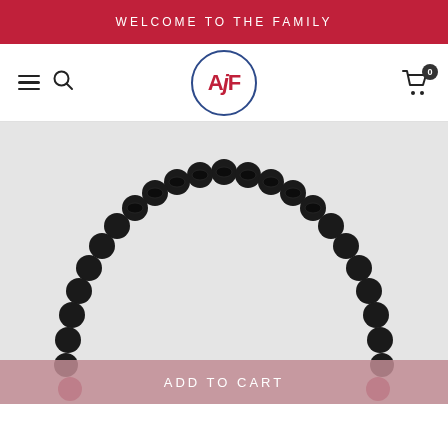WELCOME TO THE FAMILY
[Figure (logo): AJF logo in a circle with navy blue border, red stylized letters AJF]
[Figure (photo): Black beaded bracelet (silicone/rubber beads with baseball stitch texture) arranged in an arch shape on a light gray background, with red/pink beads at the bottom]
ADD TO CART